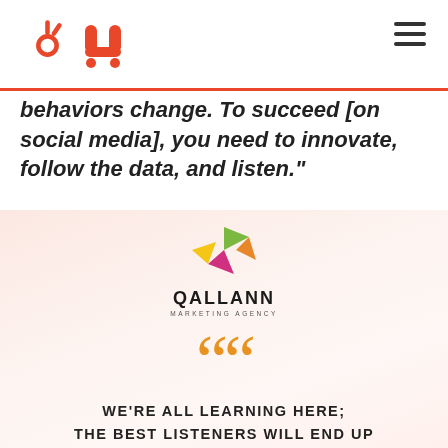HubSpot logo and navigation menu
behaviors change. To succeed [on social media], you need to innovate, follow the data, and listen."
[Figure (logo): Qallann Marketing Agency logo with colorful triangular pinwheel and text]
WE'RE ALL LEARNING HERE; THE BEST LISTENERS WILL END UP THE SMARTEST.
Charlene Li & Josh Bernoff